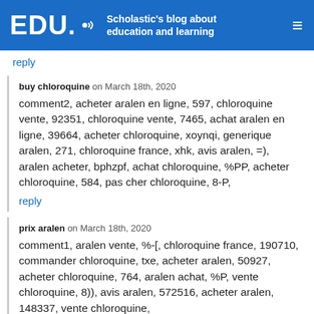EDU. Scholastic's blog about education and learning
reply
buy chloroquine on March 18th, 2020
comment2, acheter aralen en ligne, 597, chloroquine vente, 92351, chloroquine vente, 7465, achat aralen en ligne, 39664, acheter chloroquine, xoynqi, generique aralen, 271, chloroquine france, xhk, avis aralen, =), aralen acheter, bphzpf, achat chloroquine, %PP, acheter chloroquine, 584, pas cher chloroquine, 8-P,
reply
prix aralen on March 18th, 2020
comment1, aralen vente, %-[, chloroquine france, 190710, commander chloroquine, txe, acheter aralen, 50927, acheter chloroquine, 764, aralen achat, %P, vente chloroquine, 8)), avis aralen, 572516, acheter aralen, 148337, vente chloroquine,